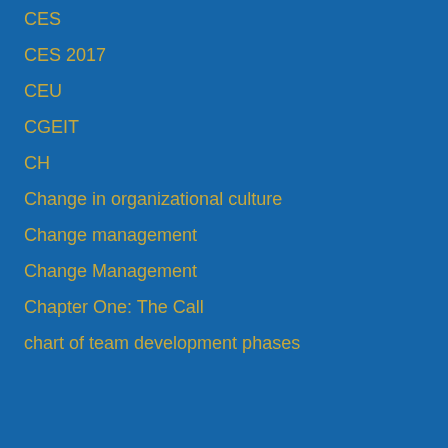CES
CES 2017
CEU
CGEIT
CH
Change in organizational culture
Change management
Change Management
Chapter One: The Call
chart of team development phases